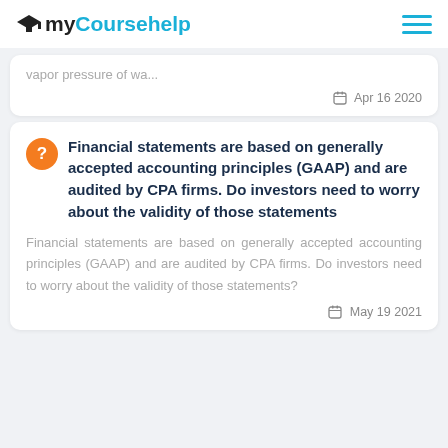myCoursehelp
vapor pressure of wa...
Apr 16 2020
Financial statements are based on generally accepted accounting principles (GAAP) and are audited by CPA firms. Do investors need to worry about the validity of those statements
Financial statements are based on generally accepted accounting principles (GAAP) and are audited by CPA firms. Do investors need to worry about the validity of those statements?
May 19 2021